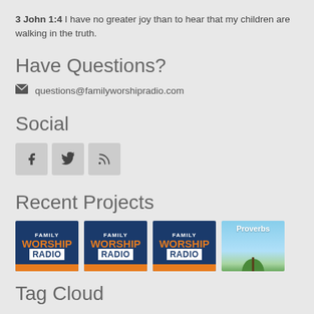3 John 1:4 I have no greater joy than to hear that my children are walking in the truth.
Have Questions?
questions@familyworshipradio.com
Social
[Figure (infographic): Three social media icon buttons: Facebook (f), Twitter (bird), RSS feed icon, displayed as gray square buttons]
Recent Projects
[Figure (infographic): Four project thumbnails: three Family Worship Radio logo cards with dark blue background, orange WORSHIP text, white RADIO text, and one Proverbs book cover with sky and tree]
Tag Cloud